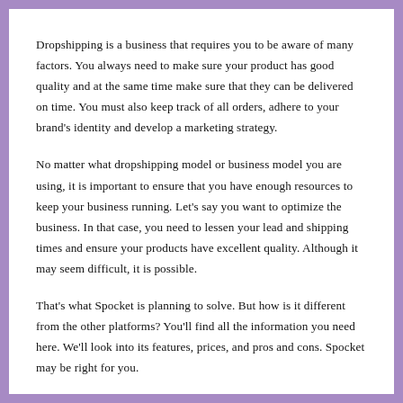Dropshipping is a business that requires you to be aware of many factors. You always need to make sure your product has good quality and at the same time make sure that they can be delivered on time. You must also keep track of all orders, adhere to your brand's identity and develop a marketing strategy.
No matter what dropshipping model or business model you are using, it is important to ensure that you have enough resources to keep your business running. Let's say you want to optimize the business. In that case, you need to lessen your lead and shipping times and ensure your products have excellent quality. Although it may seem difficult, it is possible.
That's what Spocket is planning to solve. But how is it different from the other platforms? You'll find all the information you need here. We'll look into its features, prices, and pros and cons. Spocket may be right for you.